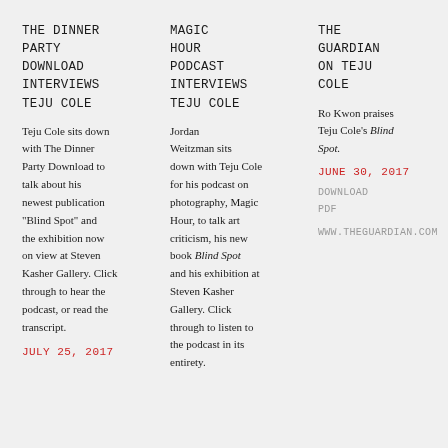THE DINNER PARTY DOWNLOAD INTERVIEWS TEJU COLE
Teju Cole sits down with The Dinner Party Download to talk about his newest publication "Blind Spot" and the exhibition now on view at Steven Kasher Gallery. Click through to hear the podcast, or read the transcript.
JULY 25, 2017
MAGIC HOUR PODCAST INTERVIEWS TEJU COLE
Jordan Weitzman sits down with Teju Cole for his podcast on photography, Magic Hour, to talk art criticism, his new book Blind Spot and his exhibition at Steven Kasher Gallery. Click through to listen to the podcast in its entirety.
THE GUARDIAN ON TEJU COLE
Ro Kwon praises Teju Cole's Blind Spot.
JUNE 30, 2017
DOWNLOAD PDF
WWW.THEGUARDIAN.COM